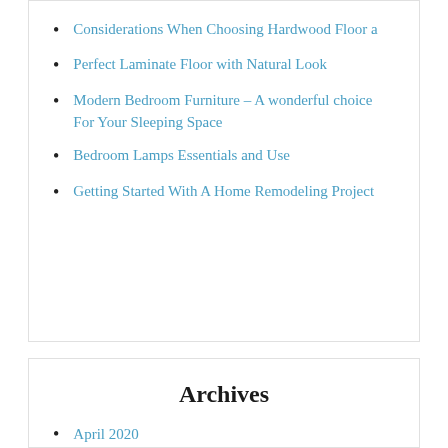Considerations When Choosing Hardwood Floor a
Perfect Laminate Floor with Natural Look
Modern Bedroom Furniture – A wonderful choice For Your Sleeping Space
Bedroom Lamps Essentials and Use
Getting Started With A Home Remodeling Project
Archives
April 2020